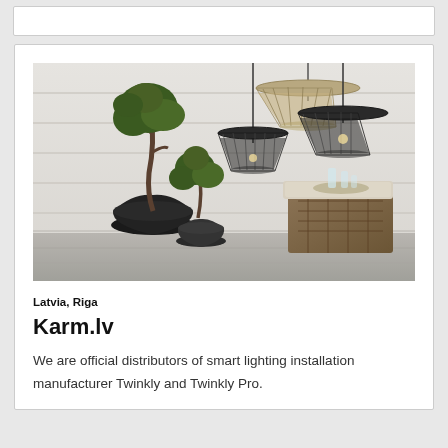[Figure (photo): Interior lifestyle photo showing three hanging pendant lamps with wire cone shades (one beige/gold, two black) suspended from ceiling, with two dark potted trees/plants on the left and a wicker ottoman with white cushion and glass candle holders on the right, against a white horizontal plank wall.]
Latvia, Riga
Karm.lv
We are official distributors of smart lighting installation manufacturer Twinkly and Twinkly Pro.